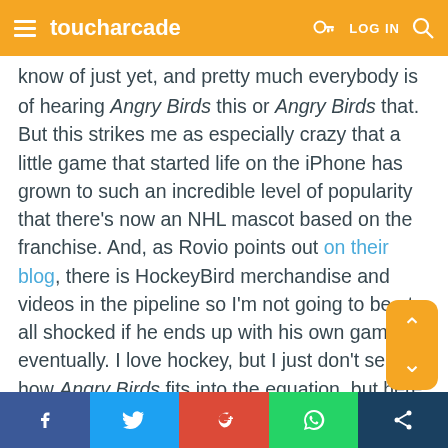toucharcade — LOG IN
know of just yet, and pretty much everybody is sick of hearing Angry Birds this or Angry Birds that. But this strikes me as especially crazy that a little game that started life on the iPhone has grown to such an incredible level of popularity that there's now an NHL mascot based on the franchise. And, as Rovio points out on their blog, there is HockeyBird merchandise and videos in the pipeline so I'm not going to be at all shocked if he ends up with his own game eventually. I love hockey, but I just don't see how Angry Birds fits into the equation, but here we are. So, does anybody think that Angry Birds hysteria will let up any time soon?
[Polygon]